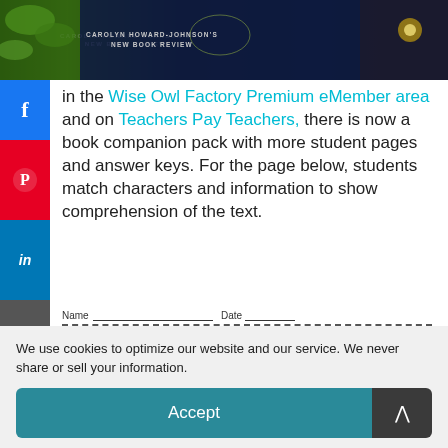[Figure (photo): Header banner image for Carolyn Howard-Johnson's New Book Review with floral and dark background]
in the Wise Owl Factory Premium eMember area and on Teachers Pay Teachers, there is now a book companion pack with more student pages and answer keys. For the page below, students match characters and information to show comprehension of the text.
[Figure (screenshot): Worksheet preview with Name and Date fields, titled Mysterious Matching inside a dashed border]
We use cookies to optimize our website and our service. We never share or sell your information.
Accept